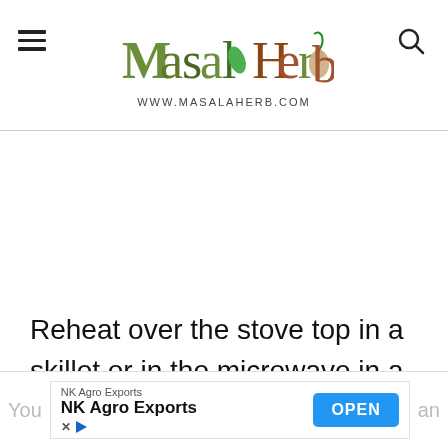Masala Herb — www.MasalaHerb.com
Reheat over the stove top in a skillet or in the microwave in a microwave safe container.
[Figure (screenshot): Advertisement banner for NK Agro Exports with an OPEN button, partially overlapping page text]